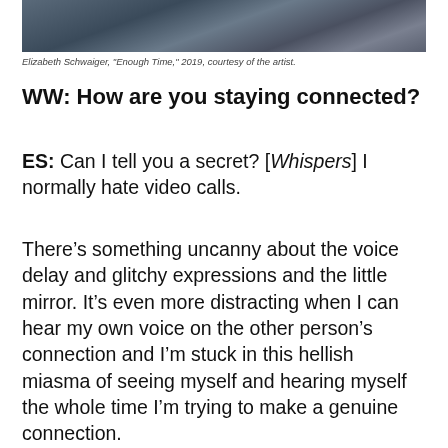[Figure (photo): Partial view of an artwork by Elizabeth Schwaiger, dark blue-grey tones, appears to be a painting or photograph]
Elizabeth Schwaiger, "Enough Time," 2019, courtesy of the artist.
WW: How are you staying connected?
ES: Can I tell you a secret? [Whispers] I normally hate video calls.
There’s something uncanny about the voice delay and glitchy expressions and the little mirror. It’s even more distracting when I can hear my own voice on the other person’s connection and I’m stuck in this hellish miasma of seeing myself and hearing myself the whole time I’m trying to make a genuine connection.